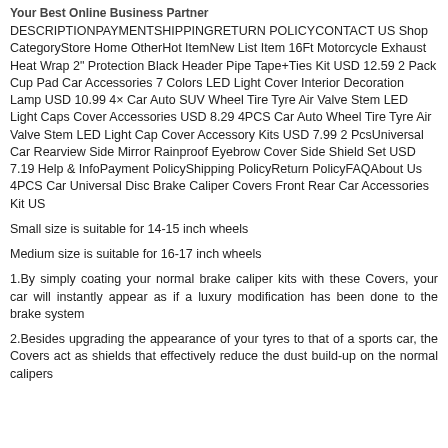Your Best Online Business Partner
DESCRIPTIONPAYMENTSHIPPINGRETURN POLICYCONTACT US Shop CategoryStore Home OtherHot ItemNew List Item 16Ft Motorcycle Exhaust Heat Wrap 2" Protection Black Header Pipe Tape+Ties Kit USD 12.59 2 Pack Cup Pad Car Accessories 7 Colors LED Light Cover Interior Decoration Lamp USD 10.99 4× Car Auto SUV Wheel Tire Tyre Air Valve Stem LED Light Caps Cover Accessories USD 8.29 4PCS Car Auto Wheel Tire Tyre Air Valve Stem LED Light Cap Cover Accessory Kits USD 7.99 2 PcsUniversal Car Rearview Side Mirror Rainproof Eyebrow Cover Side Shield Set USD 7.19 Help & InfoPayment PolicyShipping PolicyReturn PolicyFAQAbout Us 4PCS Car Universal Disc Brake Caliper Covers Front Rear Car Accessories Kit US
Small size is suitable for 14-15 inch wheels
Medium size is suitable for 16-17 inch wheels
1.By simply coating your normal brake caliper kits with these Covers, your car will instantly appear as if a luxury modification has been done to the brake system
2.Besides upgrading the appearance of your tyres to that of a sports car, the Covers act as shields that effectively reduce the dust build-up on the normal calipers